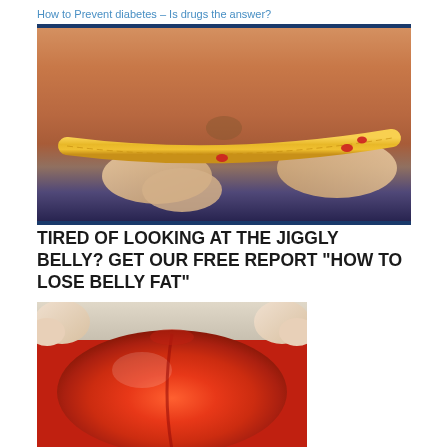How to Prevent diabetes – Is drugs the answer?
[Figure (photo): Close-up of a woman's midsection with a yellow measuring tape wrapped around her waist, wearing blue jeans, with red painted fingernails holding the tape, framed by dark blue horizontal bars.]
TIRED OF LOOKING AT THE JIGGLY BELLY? GET OUR FREE REPORT "HOW TO LOSE BELLY FAT"
[Figure (photo): Close-up photo of hands squeezing a large red tomato, with cream/beige fabric visible at the top.]